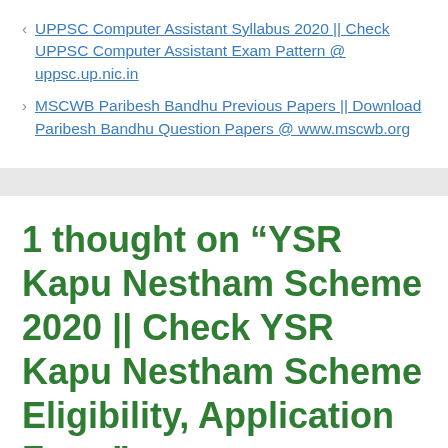< UPPSC Computer Assistant Syllabus 2020 || Check UPPSC Computer Assistant Exam Pattern @ uppsc.up.nic.in
> MSCWB Paribesh Bandhu Previous Papers || Download Paribesh Bandhu Question Papers @ www.mscwb.org
1 thought on “YSR Kapu Nestham Scheme 2020 || Check YSR Kapu Nestham Scheme Eligibility, Application Form”